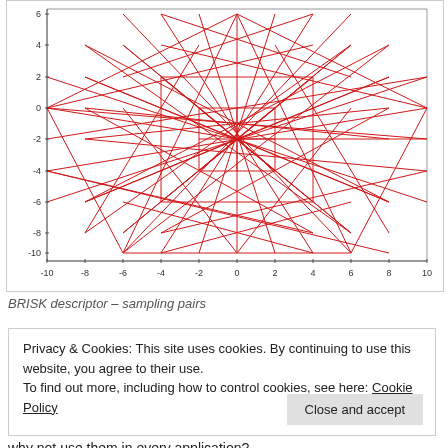[Figure (continuous-plot): BRISK descriptor sampling pairs plot showing complex red line network forming a roughly circular/oval pattern with dense interconnected lines, plotted on axes from -10 to 10 on both x and y axes]
BRISK descriptor – sampling pairs
Privacy & Cookies: This site uses cookies. By continuing to use this website, you agree to their use.
To find out more, including how to control cookies, see here: Cookie Policy
why not use them in every application?